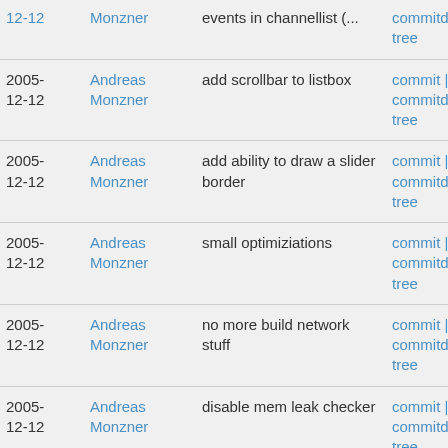| Date | Author | Message | Links |
| --- | --- | --- | --- |
| 12-12 | Monzner | events in channellist (... | commitdiff | tree |
| 2005-12-12 | Andreas Monzner | add scrollbar to listbox | commit | commitdiff | tree |
| 2005-12-12 | Andreas Monzner | add ability to draw a slider border | commit | commitdiff | tree |
| 2005-12-12 | Andreas Monzner | small optimiziations | commit | commitdiff | tree |
| 2005-12-12 | Andreas Monzner | no more build network stuff | commit | commitdiff | tree |
| 2005-12-12 | Andreas Monzner | disable mem leak checker | commit | commitdiff | tree |